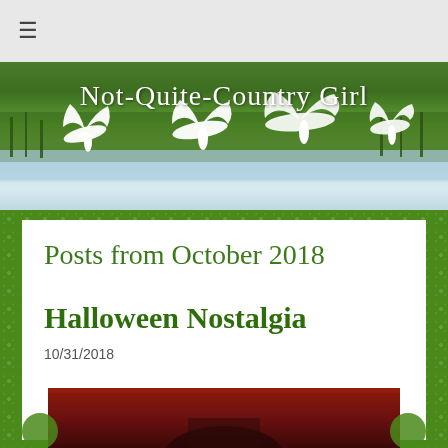≡
[Figure (photo): Blog header banner showing white egrets/herons in flight over a green marsh with water, with the text 'Not-Quite-Country Girl' overlaid in cursive white font]
Posts from October 2018
Halloween Nostalgia
10/31/2018
[Figure (photo): Partial image showing what appears to be Halloween-themed content with dark red background, bottom portion cut off]